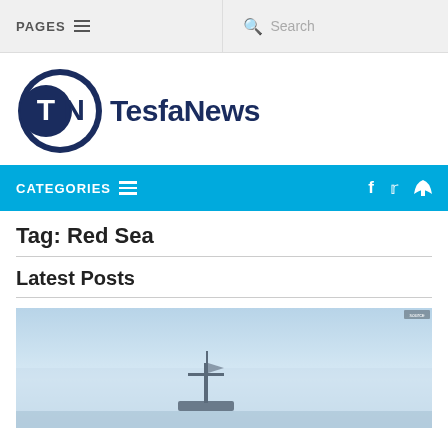PAGES  Search
[Figure (logo): TesfaNews logo with TN letters in circular dark blue badge followed by TesfaNews text]
CATEGORIES
Tag: Red Sea
Latest Posts
[Figure (photo): Hazy blue sky with a ship silhouette visible, likely on the Red Sea]